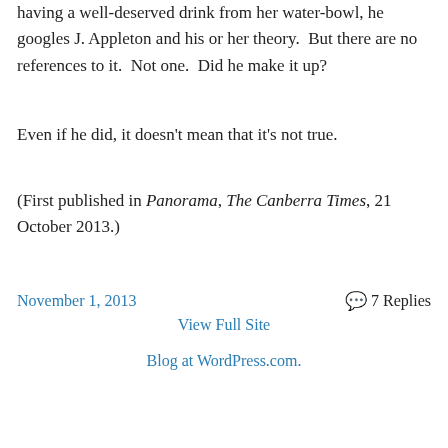having a well-deserved drink from her water-bowl, he googles J. Appleton and his or her theory.  But there are no references to it.  Not one.  Did he make it up?
Even if he did, it doesn't mean that it's not true.
(First published in Panorama, The Canberra Times, 21 October 2013.)
November 1, 2013
7 Replies
View Full Site
Blog at WordPress.com.